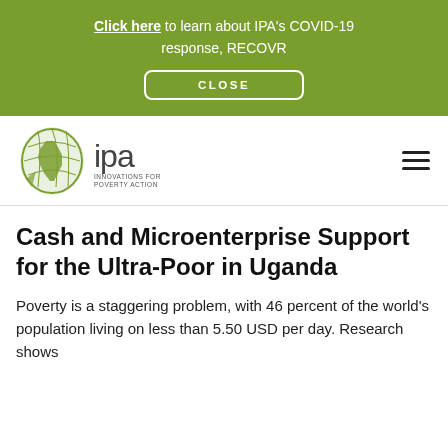Click here to learn about IPA's COVID-19 response, RECOVR
[Figure (logo): IPA Innovations for Poverty Action logo with globe icon]
Cash and Microenterprise Support for the Ultra-Poor in Uganda
Poverty is a staggering problem, with 46 percent of the world's population living on less than 5.50 USD per day. Research shows